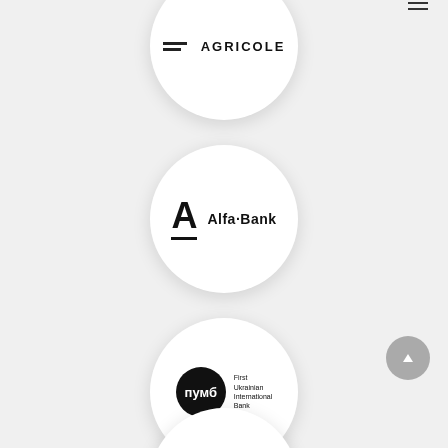[Figure (logo): Credit Agricole bank logo inside a white circle — two horizontal bars and text AGRICOLE in bold caps]
[Figure (logo): Alfa-Bank logo inside a white circle — bold A letter with underline and text Alfa·Bank]
[Figure (logo): ПУМБ (First Ukrainian International Bank) logo inside a white circle — black circle with Cyrillic text пумб and subtitle First Ukrainian International Bank]
[Figure (logo): Partial white circle at the bottom of the page, another bank logo partially visible]